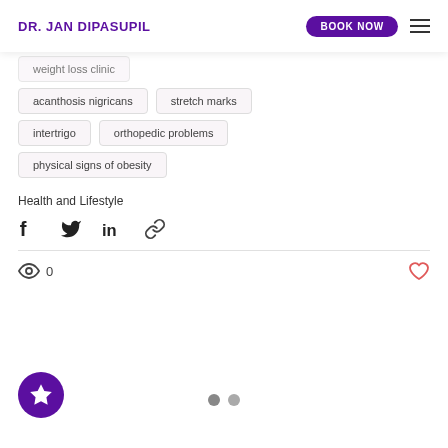DR. JAN DIPASUPIL | BOOK NOW
weight loss clinic
acanthosis nigricans
stretch marks
intertrigo
orthopedic problems
physical signs of obesity
Health and Lifestyle
0